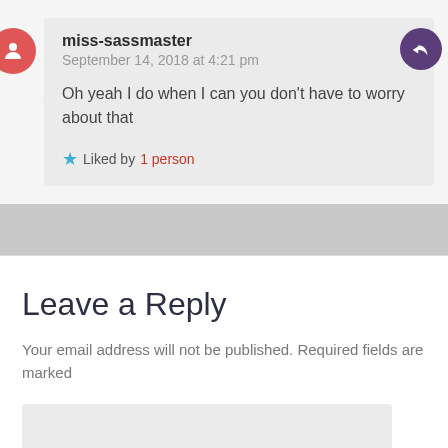miss-sassmaster
September 14, 2018 at 4:21 pm
Oh yeah I do when I can you don't have to worry about that
Liked by 1 person
Leave a Reply
Your email address will not be published. Required fields are marked